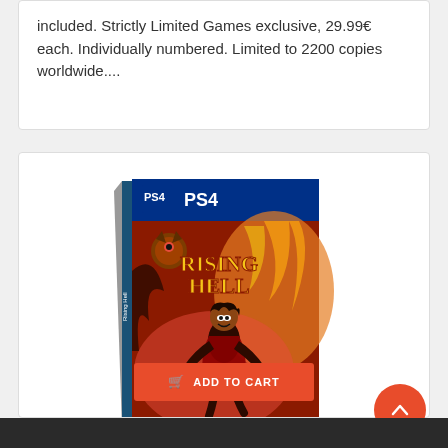included. Strictly Limited Games exclusive, 29.99€ each. Individually numbered. Limited to 2200 copies worldwide....
[Figure (photo): PS4 physical game case for 'Rising Hell' by Strictly Limited Games, showing a dark fantasy action game cover with a demonic warrior character leaping through flames, with the PS4 logo at the top and Strictly Limited Games logo in the bottom right corner.]
ADD TO CART